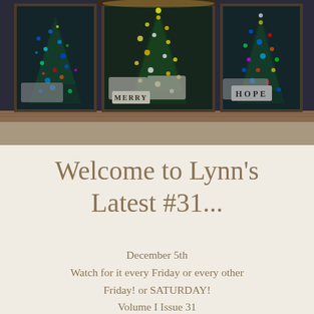[Figure (photo): Storefront window display with three decorated Christmas trees with colorful lights (blue, green, multicolor), white sofas, a sign reading MERRY on the left and HOPE on the right, viewed from outside through large glass windows.]
Welcome to Lynn's Latest #31...
December 5th
Watch for it every Friday or every other Friday! or SATURDAY!
Volume I  Issue 31